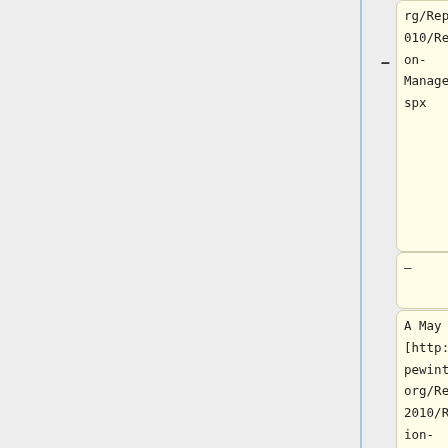rg/Reports/2010/Reputation-Management.aspx
–
A May 2010 [http://www.pewinternet.org/Reports/2010/Reputation-Management.aspx Pew Internet and American Life] study suggests that privacy is highly valued by